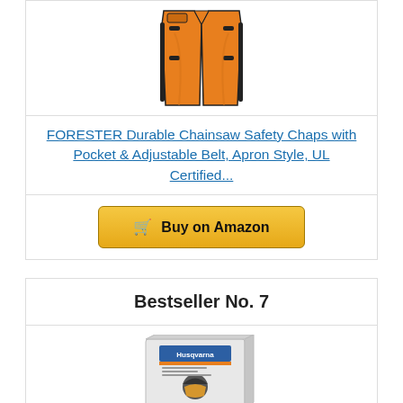[Figure (photo): Orange chainsaw safety chaps, apron style, shown hanging/laid flat]
FORESTER Durable Chainsaw Safety Chaps with Pocket & Adjustable Belt, Apron Style, UL Certified...
Buy on Amazon
Bestseller No. 7
[Figure (photo): Husqvarna product box with safety gear visible]